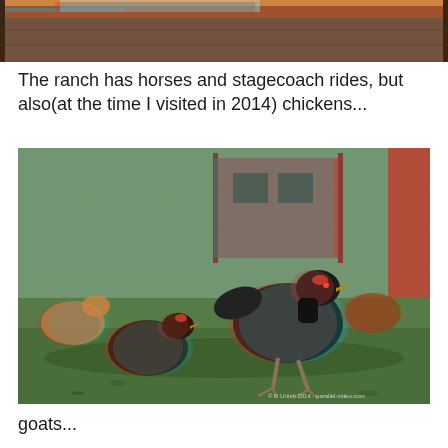[Figure (photo): Top portion of a barn interior photo with wooden beams, showing red/cyan 3D anaglyph style image cropped at top of page]
The ranch has horses and stagecoach rides, but also(at the time I visited in 2014) chickens...
[Figure (photo): 3D anaglyph photo of chickens in a ranch enclosure with wire fencing and red structures in background. Watermark reads: © R Urlich 2014 - parallel-video.com]
goats...